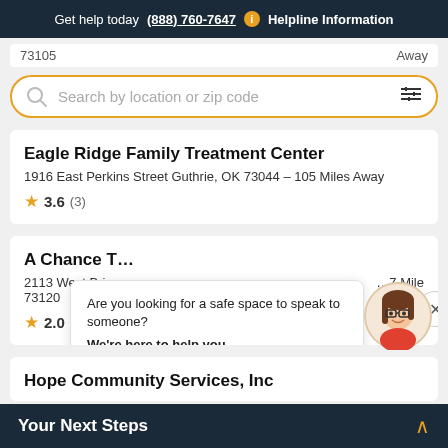Get help today (888) 760-7647 ℹ Helpline Information
73105 … Away
Search by location or zip code
Eagle Ridge Family Treatment Center
1916 East Perkins Street Guthrie, OK 73044 – 105 Miles Away
★ 3.6 (3)
A Chance T…
2113 West Bri… 73120 … 7 Miles Away
★ 2.0 (1)
Are you looking for a safe space to speak to someone? We're here to help you.
Hope Community Services, Inc
Your Next Steps